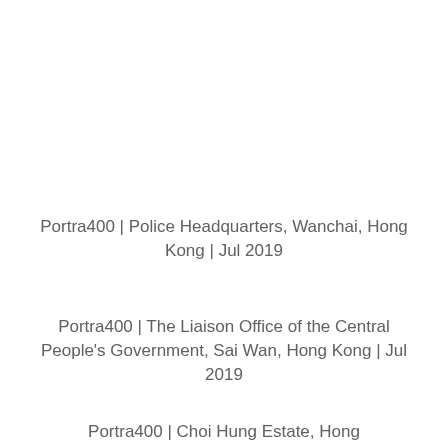Portra400 | Police Headquarters, Wanchai, Hong Kong | Jul 2019
Portra400 | The Liaison Office of the Central People's Government, Sai Wan, Hong Kong | Jul 2019
Portra400 | Choi Hung Estate, Hong